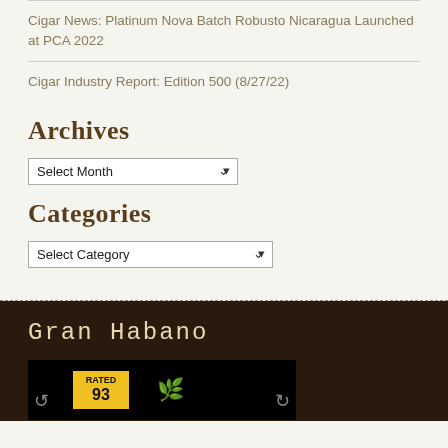Cigar News: Platinum Nova Batch Robusto Nicaragua Launched at PCA 2022
Cigar Industry Report: Edition 500 (8/27/22)
Archives
Select Month (dropdown)
Categories
Select Category (dropdown)
Gran Habano
[Figure (photo): Dark background image showing a cigar with a yellow RATED 93 badge and a green leaf icon, with navigation arrows]